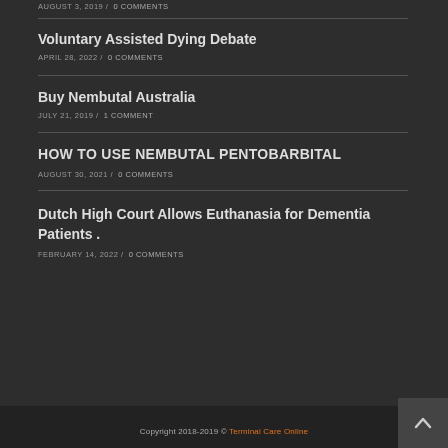AUGUST 3, 2019 /  0 COMMENTS
Voluntary Assisted Dying Debate
APRIL 28, 2022 /  0 COMMENTS
Buy Nembutal Australia
JULY 21, 2019 /  1 COMMENT
HOW TO USE NEMBUTAL PENTOBARBITAL
AUGUST 30, 2021 /  0 COMMENTS
Dutch High Court Allows Euthanasia for Dementia Patients .
FEBRUARY 14, 2022 /  0 COMMENTS
Copyright 2018-2019 © Terminal Care Online